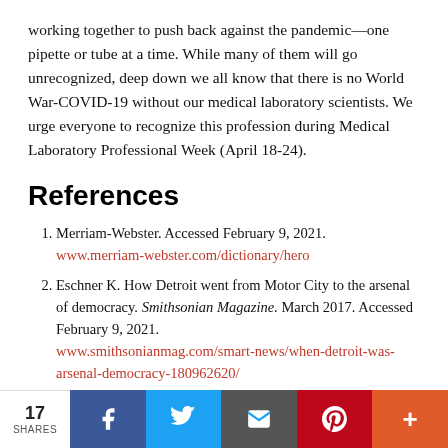working together to push back against the pandemic—one pipette or tube at a time. While many of them will go unrecognized, deep down we all know that there is no World War-COVID-19 without our medical laboratory scientists. We urge everyone to recognize this profession during Medical Laboratory Professional Week (April 18-24).
References
1. Merriam-Webster. Accessed February 9, 2021. www.merriam-webster.com/dictionary/hero
2. Eschner K. How Detroit went from Motor City to the arsenal of democracy. Smithsonian Magazine. March 2017. Accessed February 9, 2021. www.smithsonianmag.com/smart-news/when-detroit-was-arsenal-democracy-180962620/
3. Abbott B. Help wanted at COVID-19 testing labs. Wall Street Journal. October 2020. Accessed February 9,